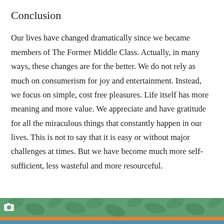Conclusion
Our lives have changed dramatically since we became members of The Former Middle Class. Actually, in many ways, these changes are for the better. We do not rely as much on consumerism for joy and entertainment. Instead, we focus on simple, cost free pleasures. Life itself has more meaning and more value. We appreciate and have gratitude for all the miraculous things that constantly happen in our lives. This is not to say that it is easy or without major challenges at times. But we have become much more self-sufficient, less wasteful and more resourceful.
[Figure (photo): Decorative bottom banner with green leafy pattern, orange stripe, and blue stripe, with a small camera icon in the top-left corner.]